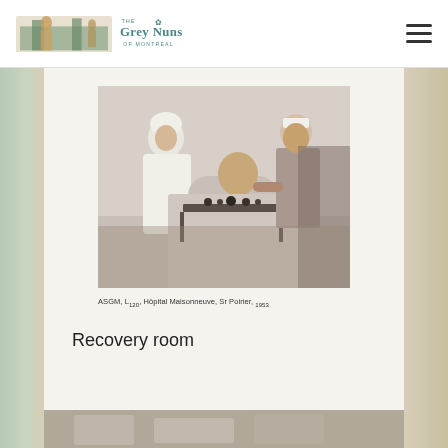The Grey Nuns of Montreal
[Figure (photo): Black and white photograph of a patient in a hospital bed with two nurses, one in a Grey Nuns habit and one in a standard nurse uniform, with a tray of items on the bed. Hospital setting, 1953.]
ASGM, L120, Hôpital Maisonneuve, Sr Poirier, 1953
Recovery room
[Figure (photo): Partial view of another black and white hospital photograph at the bottom of the page.]